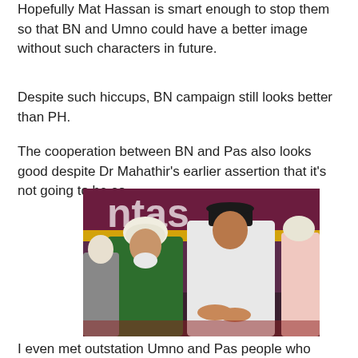Hopefully Mat Hassan is smart enough to stop them so that BN and Umno could have a better image without such characters in future.
Despite such hiccups, BN campaign still looks better than PH.
The cooperation between BN and Pas also looks good despite Dr Mahathir's earlier assertion that it's not going to be so.
[Figure (photo): Two men in Islamic attire seated together, one in green baju melayu with white kopiah, the other in white baju melayu with black songkok, appearing to look at something together. Other men in white Islamic dress visible in background. Purple/maroon banner with text 'tas' visible in background.]
I even met outstation Umno and Pas people who were